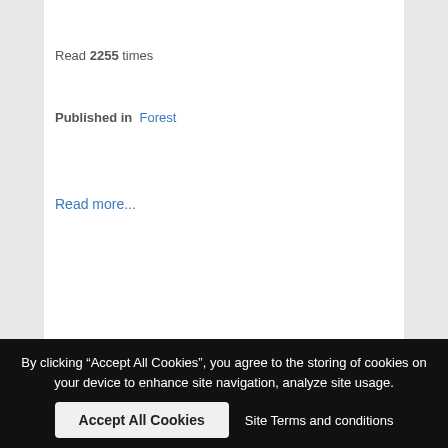Read 2255 times
Published in  Forest
Read more...
Wednesday, 08 October 2014 10:28
SILVADATA AND MHG SYSTEMS START THEIR COOPERATION ON MOBILE SERVICES
Oy Silvadata Ab and MHG Systems have signed a cooperation agreement on the development and marketing of mobile applications for forest management associations. The innovative and map-based mobile application, which is designed for forest workers and contractors, is now complete
By clicking “Accept All Cookies”, you agree to the storing of cookies on your device to enhance site navigation, analyze site usage.
Accept All Cookies
Site Terms and conditions